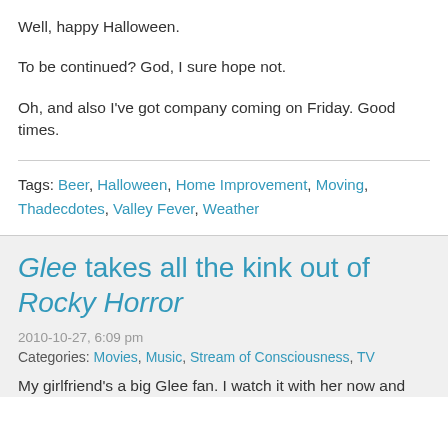Well, happy Halloween.
To be continued? God, I sure hope not.
Oh, and also I've got company coming on Friday. Good times.
Tags: Beer, Halloween, Home Improvement, Moving, Thadecdotes, Valley Fever, Weather
Glee takes all the kink out of Rocky Horror
2010-10-27, 6:09 pm
Categories: Movies, Music, Stream of Consciousness, TV
My girlfriend's a big Glee fan. I watch it with her now and